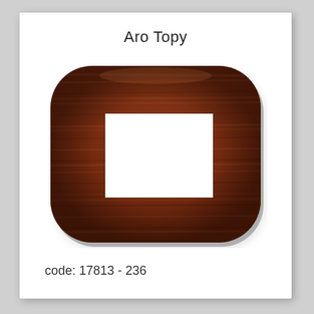Aro Topy
[Figure (photo): A wood-grain finish electrical wall plate cover with a rounded rectangular shape and an open rectangular cutout in the center. The plate has a dark walnut/rosewood wood grain texture in reddish-brown tones.]
code: 17813 - 236